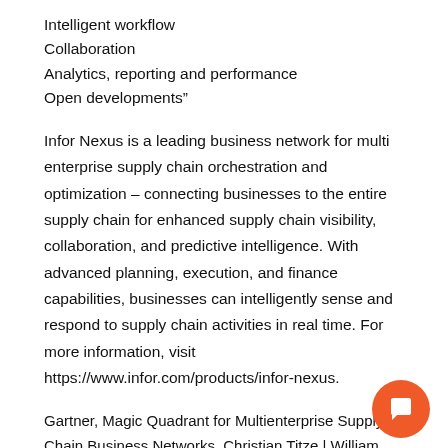Intelligent workflow
Collaboration
Analytics, reporting and performance
Open developments”
Infor Nexus is a leading business network for multi enterprise supply chain orchestration and optimization – connecting businesses to the entire supply chain for enhanced supply chain visibility, collaboration, and predictive intelligence. With advanced planning, execution, and finance capabilities, businesses can intelligently sense and respond to supply chain activities in real time. For more information, visit https://www.infor.com/products/infor-nexus.
Gartner, Magic Quadrant for Multienterprise Supply Chain Business Networks, Christian Titze | William McNeill | Johns | Bart De Muynck, 3 May 2021.